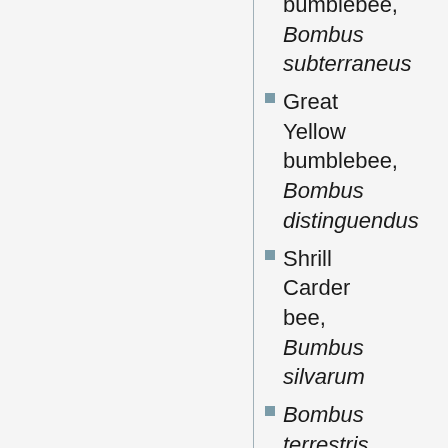bumblebee, Bombus subterraneus
Great Yellow bumblebee, Bombus distinguendus
Shrill Carder bee, Bumbus silvarum
Bombus terrestris
Bombus